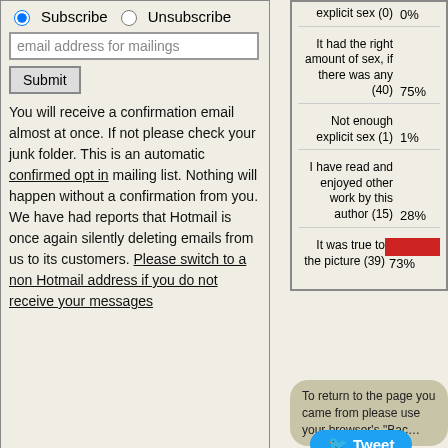Subscribe / Unsubscribe radio buttons, email address input, Submit button
You will receive a confirmation email almost at once. If not please check your junk folder. This is an automatic confirmed opt in mailing list. Nothing will happen without a confirmation from you.
We have had reports that Hotmail is once again silently deleting emails from us to its customers. Please switch to a non Hotmail address if you do not receive your messages
| Category | Percentage |
| --- | --- |
| explicit sex (0) | 0% |
| It had the right amount of sex, if there was any (40) | 75% |
| Not enough explicit sex (1) | 1% |
| I have read and enjoyed other work by this author (15) | 28% |
| It was true to the picture (39) | 73% |
To return to the page you came from please use your browser's "Back"
Tweet
Top of page | Site Copyright © 1997-